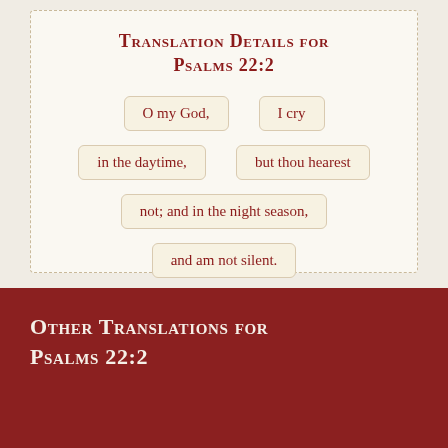Translation Details for Psalms 22:2
O my God,
I cry
in the daytime,
but thou hearest
not; and in the night season,
and am not silent.
Other Translations for Psalms 22:2